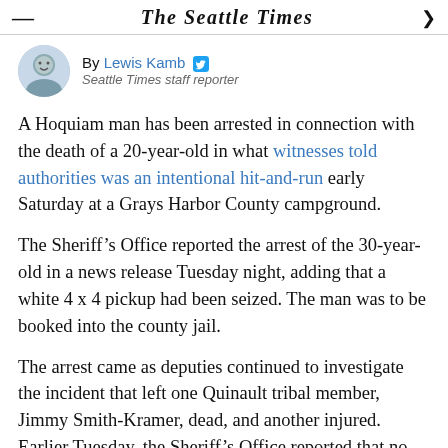The Seattle Times
[Figure (photo): Circular headshot of Lewis Kamb, author]
By Lewis Kamb
Seattle Times staff reporter
A Hoquiam man has been arrested in connection with the death of a 20-year-old in what witnesses told authorities was an intentional hit-and-run early Saturday at a Grays Harbor County campground.
The Sheriff’s Office reported the arrest of the 30-year-old in a news release Tuesday night, adding that a white 4 x 4 pickup had been seized. The man was to be booked into the county jail.
The arrest came as deputies continued to investigate the incident that left one Quinault tribal member, Jimmy Smith-Kramer, dead, and another injured. Earlier Tuesday, the Sheriff’s Office reported that no